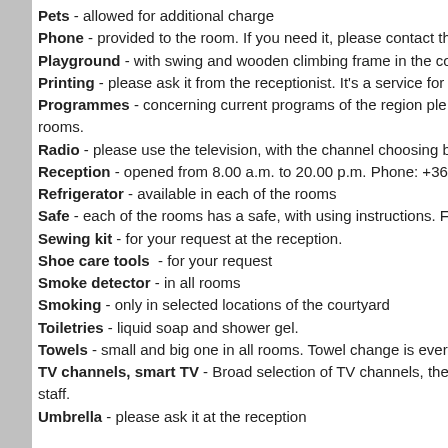Pets - allowed for additional charge
Phone - provided to the room. If you need it, please contact the r
Playground - with swing and wooden climbing frame in the cou
Printing - please ask it from the receptionist. It's a service for ex
Programmes - concerning current programs of the region ple
rooms.
Radio - please use the television, with the channel choosing butt
Reception - opened from 8.00 a.m. to 20.00 p.m. Phone: +36-2
Refrigerator - available in each of the rooms
Safe - each of the rooms has a safe, with using instructions. For f
Sewing kit - for your request at the reception.
Shoe care tools - for your request
Smoke detector - in all rooms
Smoking - only in selected locations of the courtyard
Toiletries - liquid soap and shower gel.
Towels - small and big one in all rooms. Towel change is every 3
TV channels, smart TV - Broad selection of TV channels, the
staff.
Umbrella - please ask it at the reception